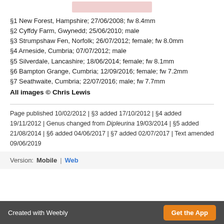[Figure (photo): Partial view of a moth or butterfly specimen photograph at top of page]
§1 New Forest, Hampshire; 27/06/2008; fw 8.4mm
§2 Cyffdy Farm, Gwynedd; 25/06/2010; male
§3 Strumpshaw Fen, Norfolk; 26/07/2012; female; fw 8.0mm
§4 Arneside, Cumbria; 07/07/2012; male
§5 Silverdale, Lancashire; 18/06/2014; female; fw 8.1mm
§6 Bampton Grange, Cumbria; 12/09/2016; female; fw 7.2mm
§7 Seathwaite, Cumbria; 22/07/2016; male; fw 7.7mm
All images © Chris Lewis
Page published 10/02/2012 | §3 added 17/10/2012 | §4 added 19/11/2012 | Genus changed from Dipleurina 19/03/2014 | §5 added 21/08/2014 | §6 added 04/06/2017 | §7 added 02/07/2017 | Text amended 09/06/2019
Version: Mobile | Web
Created with Weebly  Get the App